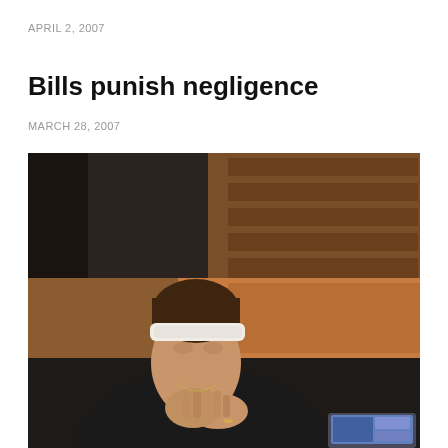APRIL 2, 2007
Bills punish negligence
MARCH 28, 2007
[Figure (photo): A young woman wearing a white headband and dark top sits with her hands pressed together in a prayer-like gesture, head bowed. She is seated in what appears to be a church pew or wooden bench setting. A laptop or tablet is visible in the lower right corner of the image.]